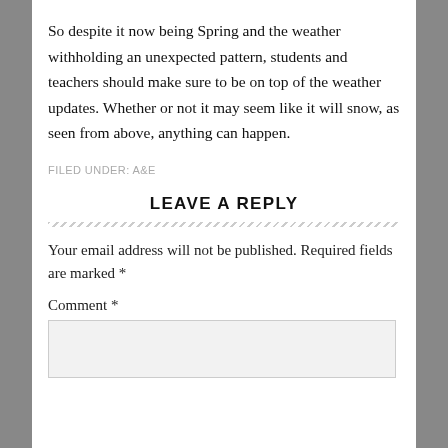So despite it now being Spring and the weather withholding an unexpected pattern, students and teachers should make sure to be on top of the weather updates. Whether or not it may seem like it will snow, as seen from above, anything can happen.
FILED UNDER: A&E
LEAVE A REPLY
Your email address will not be published. Required fields are marked *
Comment *